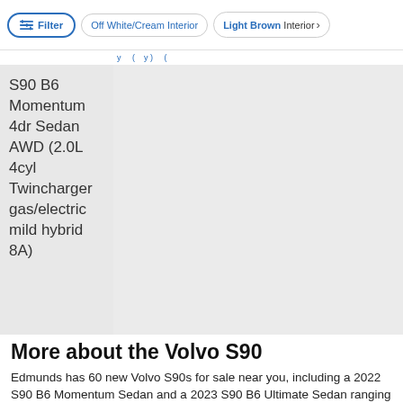Filter | Off White/Cream Interior | Light Brown Interior >
S90 B6 Momentum 4dr Sedan AWD (2.0L 4cyl Twincharger gas/electric mild hybrid 8A)
More about the Volvo S90
Edmunds has 60 new Volvo S90s for sale near you, including a 2022 S90 B6 Momentum Sedan and a 2023 S90 B6 Ultimate Sedan ranging in price from $57,565 to $69,240.